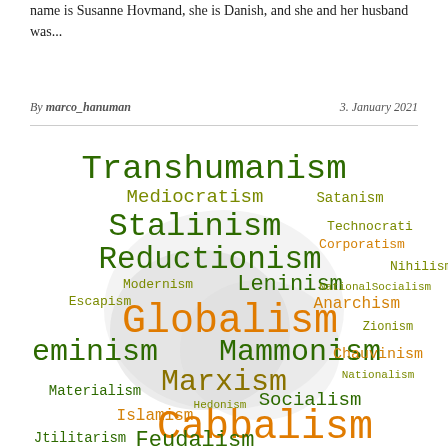name is Susanne Hovmand, she is Danish, and she and her husband was...
By marco_hanuman    3. January 2021
[Figure (infographic): Word cloud containing various ideological terms in different sizes and colors (dark green, olive/yellow-green, orange). Larger words include Transhumanism, Stalinism, Reductionism, Globalism, Mammonism, Marxism, Cabbalism, Feudalism. Smaller words include Mediocratism, Satanism, Technocrati, Corporatism, Nihilism, NationalSocialism, Anarchism, Leninism, Modernism, Escapism, Zionism, Materialism, Hedonism, Socialism, Islamism, Nationalism, Chauvinism, Darwinism, Jtilitarism, eminism, Utilitarism.]